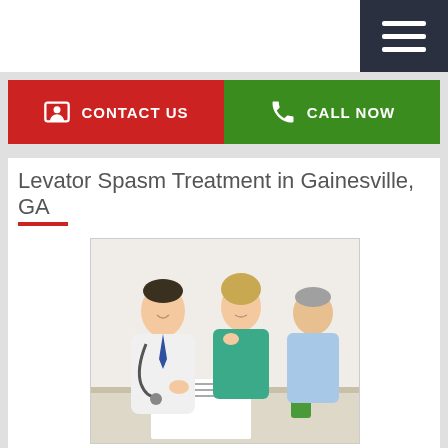Navigation bar with hamburger menu
CONTACT US
CALL NOW
Levator Spasm Treatment in Gainesville, GA
[Figure (photo): A doctor in a white coat with stethoscope consulting with a middle-aged couple at a desk, reviewing paperwork together]